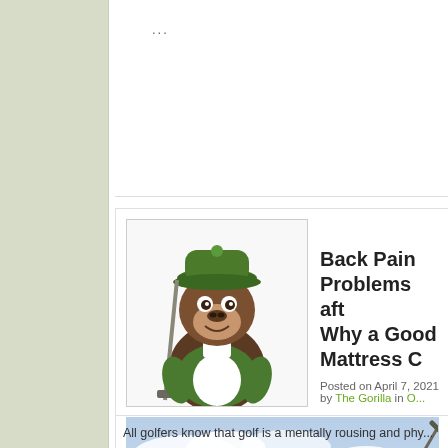...
Back Pain Problems aft... Why a Good Mattress C...
Posted on April 7, 2021 by The Gorilla in O...
[Figure (photo): Golfer in blue shirt mid-swing with golf club, trees and cloudy sky in background]
All golfers know that golf is a mentally rousing and phy...